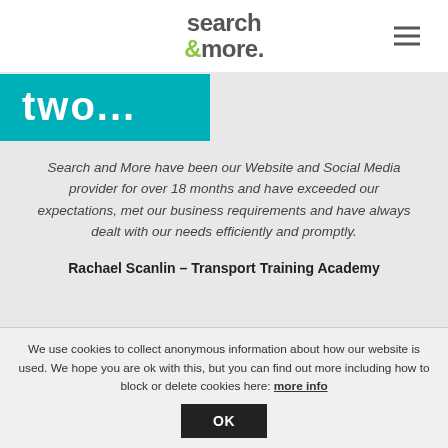search &more  ☰
two...
Search and More have been our Website and Social Media provider for over 18 months and have exceeded our expectations, met our business requirements and have always dealt with our needs efficiently and promptly.
Rachael Scanlin – Transport Training Academy
We use cookies to collect anonymous information about how our website is used. We hope you are ok with this, but you can find out more including how to block or delete cookies here: more info
OK